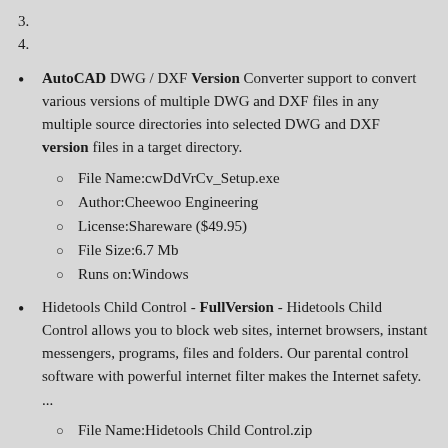3.
4.
AutoCAD DWG / DXF Version Converter support to convert various versions of multiple DWG and DXF files in any multiple source directories into selected DWG and DXF version files in a target directory.
  File Name:cwDdVrCv_Setup.exe
  Author:Cheewoo Engineering
  License:Shareware ($49.95)
  File Size:6.7 Mb
  Runs on:Windows
Hidetools Child Control - FullVersion - Hidetools Child Control allows you to block web sites, internet browsers, instant messengers, programs, files and folders. Our parental control software with powerful internet filter makes the Internet safety. ...
  File Name:Hidetools Child Control.zip
  Author:OlyKit, Inc.